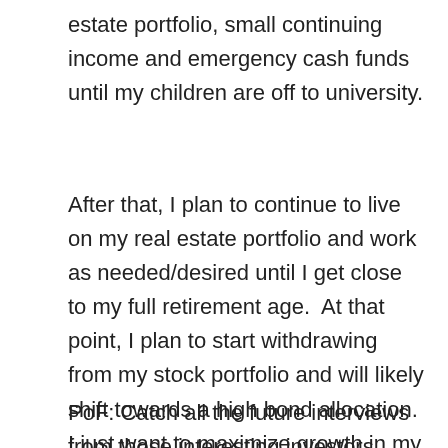estate portfolio, small continuing income and emergency cash funds until my children are off to university.
After that, I plan to continue to live on my real estate portfolio and work as needed/desired until I get close to my full retirement age.  At that point, I plan to start withdrawing from my stock portfolio and will likely shift towards a high bond allocation.  I just want to maximize growth in my portfolio for the next 20-ish years.  Thanks!
PoF: Catch all the future interviews from those interesting investors, please subscribe through